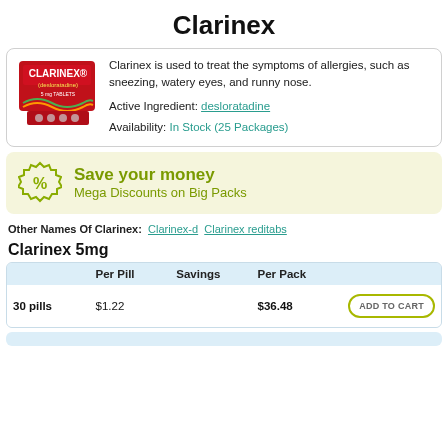Clarinex
Clarinex is used to treat the symptoms of allergies, such as sneezing, watery eyes, and runny nose.
Active Ingredient: desloratadine
Availability: In Stock (25 Packages)
Save your money
Mega Discounts on Big Packs
Other Names Of Clarinex: Clarinex-d  Clarinex reditabs
Clarinex 5mg
|  | Per Pill | Savings | Per Pack |  |
| --- | --- | --- | --- | --- |
| 30 pills | $1.22 |  | $36.48 | ADD TO CART |